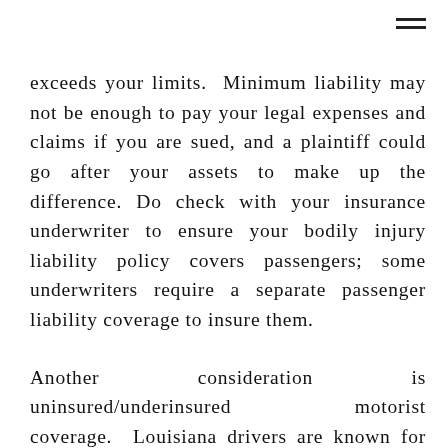exceeds your limits.  Minimum liability may not be enough to pay your legal expenses and claims if you are sued, and a plaintiff could go after your assets to make up the difference. Do check with your insurance underwriter to ensure your bodily injury liability policy covers passengers; some underwriters require a separate passenger liability coverage to insure them.
Another consideration is uninsured/underinsured motorist coverage. Louisiana drivers are known for carrying minimum insurance coverage; adding this coverage can help pay medical